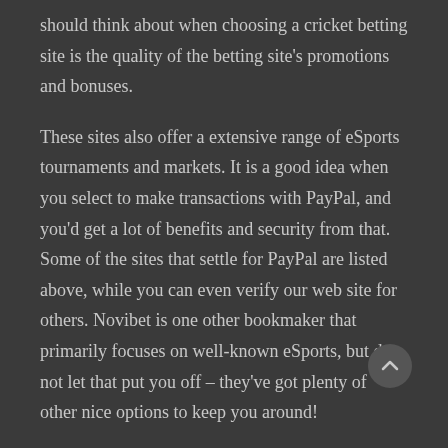should think about when choosing a cricket betting site is the quality of the betting site's promotions and bonuses.
These sites also offer a extensive range of eSports tournaments and markets. It is a good idea when you select to make transactions with PayPal, and you'd get a lot of benefits and security from that. Some of the sites that settle for PayPal are listed above, while you can even verify our web site for others. Novibet is one other bookmaker that primarily focuses on well-known eSports, but do not let that put you off – they've got plenty of other nice options to keep you around!
Chances are, punters can simply find trustworthy interactive casinos that may allow them to prime up their accounts by way of Apple Pay. Before you can use the